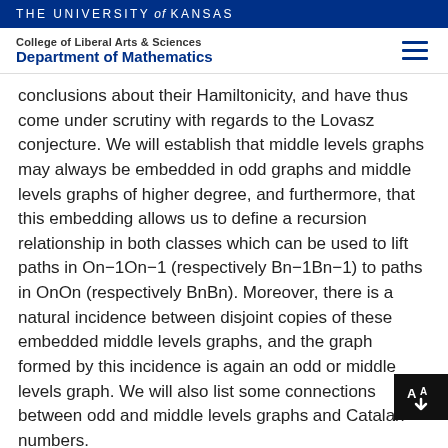THE UNIVERSITY of KANSAS
College of Liberal Arts & Sciences
Department of Mathematics
conclusions about their Hamiltonicity, and have thus come under scrutiny with regards to the Lovasz conjecture. We will establish that middle levels graphs may always be embedded in odd graphs and middle levels graphs of higher degree, and furthermore, that this embedding allows us to define a recursion relationship in both classes which can be used to lift paths in On−1On−1 (respectively Bn−1Bn−1) to paths in OnOn (respectively BnBn). Moreover, there is a natural incidence between disjoint copies of these embedded middle levels graphs, and the graph formed by this incidence is again an odd or middle levels graph. We will also list some connections between odd and middle levels graphs and Catalan numbers.
Katherine Brumley (Pittsburg State University)
Algebra Drawn Out